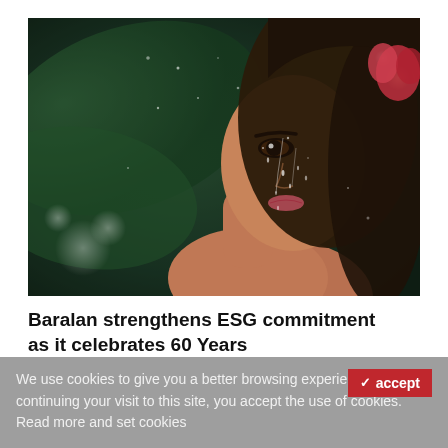[Figure (photo): Close-up portrait of a young woman with wet face and hair, shot against a dark green bokeh background with water droplets. The image has a moody, nature-inspired aesthetic.]
Baralan strengthens ESG commitment as it celebrates 60 Years
We use cookies to give you a better browsing experience. By continuing your visit to this site, you accept the use of cookies. Read more and set cookies